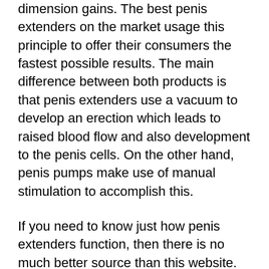dimension gains. The best penis extenders on the market usage this principle to offer their consumers the fastest possible results. The main difference between both products is that penis extenders use a vacuum to develop an erection which leads to raised blood flow and also development to the penis cells. On the other hand, penis pumps make use of manual stimulation to accomplish this.
If you need to know just how penis extenders function, then there is no much better source than this website. The standard principle remains the same, the only distinction being the approach made use of to broaden the cells consisted of in your penis. While penis pumps will certainly make use of manual